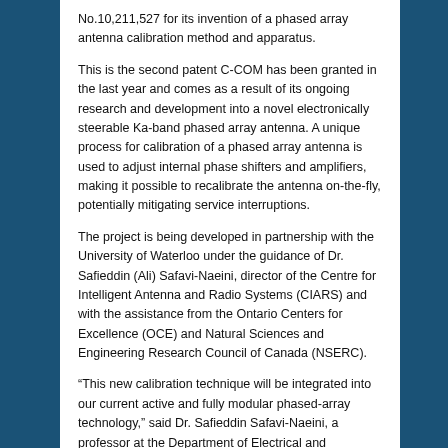No.10,211,527 for its invention of a phased array antenna calibration method and apparatus.
This is the second patent C-COM has been granted in the last year and comes as a result of its ongoing research and development into a novel electronically steerable Ka-band phased array antenna. A unique process for calibration of a phased array antenna is used to adjust internal phase shifters and amplifiers, making it possible to recalibrate the antenna on-the-fly, potentially mitigating service interruptions.
The project is being developed in partnership with the University of Waterloo under the guidance of Dr. Safieddin (Ali) Safavi-Naeini, director of the Centre for Intelligent Antenna and Radio Systems (CIARS) and with the assistance from the Ontario Centers for Excellence (OCE) and Natural Sciences and Engineering Research Council of Canada (NSERC).
“This new calibration technique will be integrated into our current active and fully modular phased-array technology,” said Dr. Safieddin Safavi-Naeini, a professor at the Department of Electrical and Computer Engineering at the